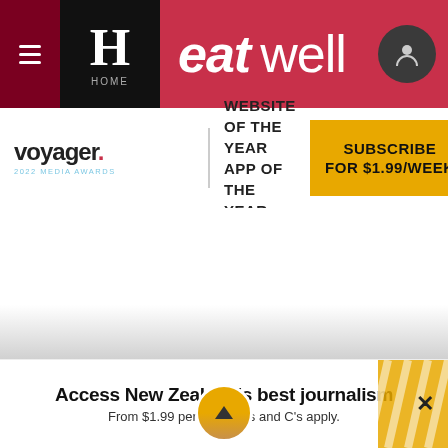eat well
[Figure (logo): Voyager 2022 Media Awards logo]
WEBSITE OF THE YEAR
APP OF THE YEAR
SUBSCRIBE FOR $1.99/WEEK
Access New Zealand's best journalism
From $1.99 per week* T's and C's apply.